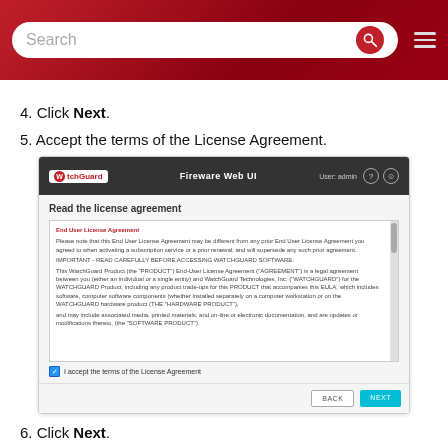Search bar with WatchGuard navigation header
4. Click Next.
5. Accept the terms of the License Agreement.
[Figure (screenshot): WatchGuard Fireware Web UI screenshot showing 'Read the license agreement' page with End User License Agreement text, checkbox 'I accept the terms of the License Agreement', and BACK / NEXT buttons]
6. Click Next.
7. Upload the payload.
a. Type the admin password you created in the Add Device Wizard in WatchGuard Cloud. This password is used to decrypt the payload.
b. Click Run... (partially visible)